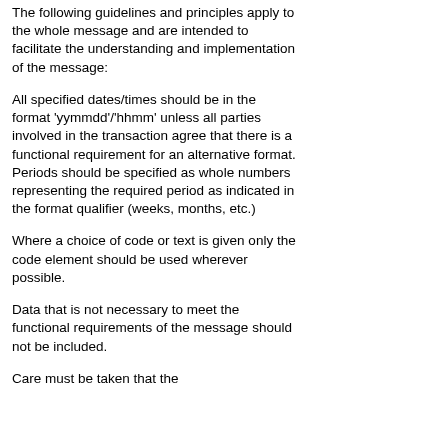The following guidelines and principles apply to the whole message and are intended to facilitate the understanding and implementation of the message:
All specified dates/times should be in the format 'yymmdd'/'hhmm' unless all parties involved in the transaction agree that there is a functional requirement for an alternative format. Periods should be specified as whole numbers representing the required period as indicated in the format qualifier (weeks, months, etc.)
Where a choice of code or text is given only the code element should be used wherever possible.
Data that is not necessary to meet the functional requirements of the message should not be included.
Care must be taken that the